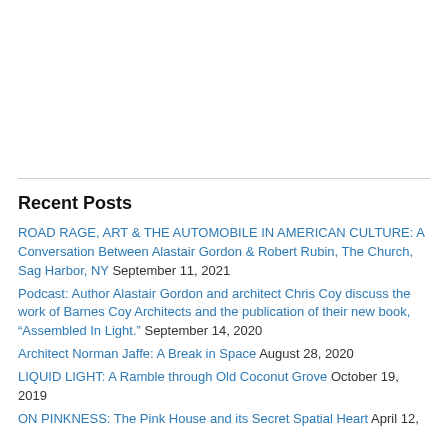Recent Posts
ROAD RAGE, ART & THE AUTOMOBILE IN AMERICAN CULTURE: A Conversation Between Alastair Gordon & Robert Rubin, The Church, Sag Harbor, NY September 11, 2021
Podcast: Author Alastair Gordon and architect Chris Coy discuss the work of Barnes Coy Architects and the publication of their new book, "Assembled In Light." September 14, 2020
Architect Norman Jaffe: A Break in Space August 28, 2020
LIQUID LIGHT: A Ramble through Old Coconut Grove October 19, 2019
ON PINKNESS: The Pink House and its Secret Spatial Heart April 12,